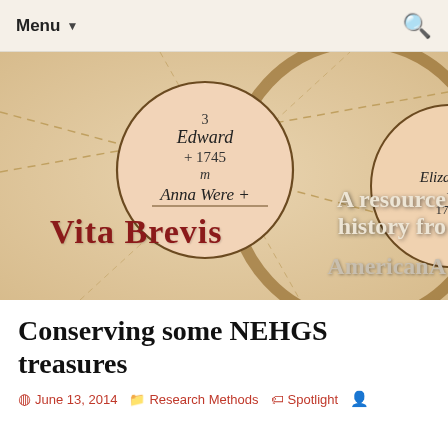Menu ▼
[Figure (illustration): Historical genealogy chart banner image showing circular nodes with names 'Edward + 1745 m Anna Were +' and 'Elizabeth + 1717.' in a pedigree tree style, with 'Vita Brevis' overlaid in dark red serif font, and text 'A resource history fro AmericanA' partially visible on the right side. Warm sepia/tan background.]
Conserving some NEHGS treasures
June 13, 2014   Research Methods   Spotlight